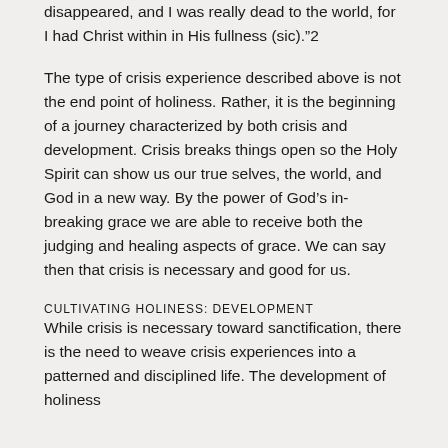disappeared, and I was really dead to the world, for I had Christ within in His fullness (sic)."2
The type of crisis experience described above is not the end point of holiness. Rather, it is the beginning of a journey characterized by both crisis and development. Crisis breaks things open so the Holy Spirit can show us our true selves, the world, and God in a new way. By the power of God’s in-breaking grace we are able to receive both the judging and healing aspects of grace. We can say then that crisis is necessary and good for us.
CULTIVATING HOLINESS: DEVELOPMENT
While crisis is necessary toward sanctification, there is the need to weave crisis experiences into a patterned and disciplined life. The development of holiness